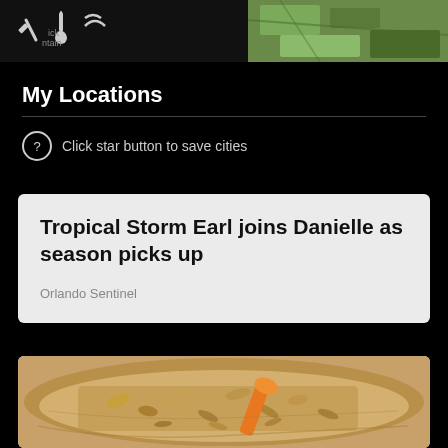[Figure (screenshot): Top bar with weather app icons on dark background (left) and green map/aerial imagery (right)]
My Locations
Click star button to save cities
Tropical Storm Earl joins Danielle as season picks up
Orlando Sentinel
[Figure (photo): Overhead view of granola in a wooden bowl with an orange scoop]